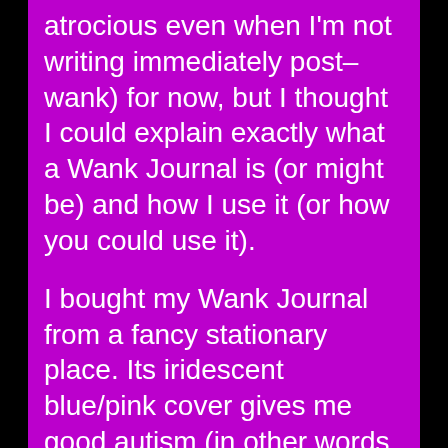atrocious even when I'm not writing immediately post–wank) for now, but I thought I could explain exactly what a Wank Journal is (or might be) and how I use it (or how you could use it).
I bought my Wank Journal from a fancy stationary place. Its iridescent blue/pink cover gives me good autism (in other words, I find it a uniquely pleasant sensory input) and its lined pages make sure that my writing stays legible–ish so I can revisit it another day. It also has a section in the top right corner for the date (appearing like this: __ /__ / __), which means I don't forget to date my